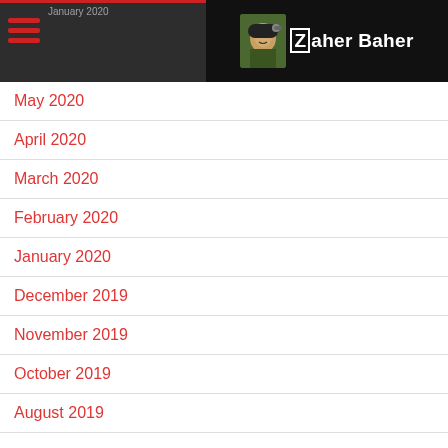Zaher Baher
May 2020
April 2020
March 2020
February 2020
January 2020
December 2019
November 2019
October 2019
August 2019